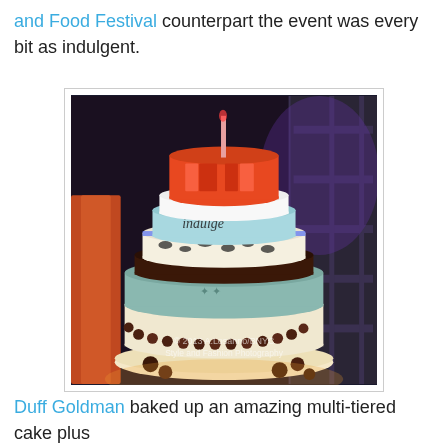and Food Festival counterpart the event was every bit as indulgent.
[Figure (photo): A tall multi-tiered decorative cake photographed in a dark event setting with colorful lighting. The cake has several tiers with different decorations including leopard print, metallic, and light blue tiers with chocolate ball border. Watermark reads: © 2013 A.Losanno/BNYC Style and Fashion Photography]
Duff Goldman baked up an amazing multi-tiered cake plus